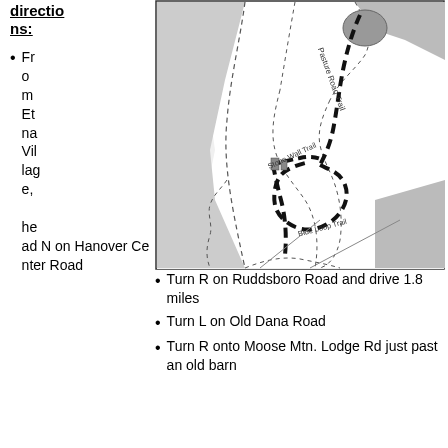directions:
From Etna Village, head N on Hanover Center Road
[Figure (map): Trail map showing Pasture Road Trail, Stone Wall Trail, and Blue Loop Trail with dashed lines indicating trail routes, property boundaries shown as dashed outlines, gray shaded areas for land parcels.]
Turn R on Ruddsboro Road and drive 1.8 miles
Turn L on Old Dana Road
Turn R onto Moose Mtn. Lodge Rd just past an old barn